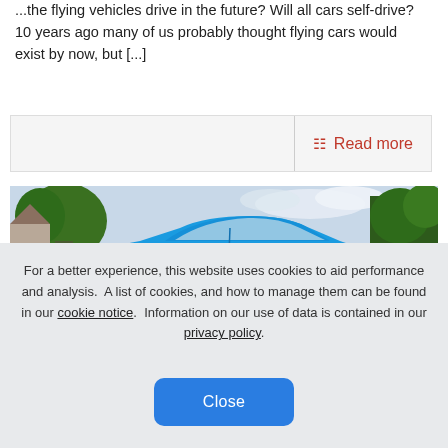...the flying vehicles drive in the future? Will all cars self-drive? 10 years ago many of us probably thought flying cars would exist by now, but [...]
Read more
[Figure (photo): A blue Ford Fiesta car parked on a residential street with trees and houses in the background]
For a better experience, this website uses cookies to aid performance and analysis.  A list of cookies, and how to manage them can be found in our cookie notice.  Information on our use of data is contained in our privacy policy.
Close